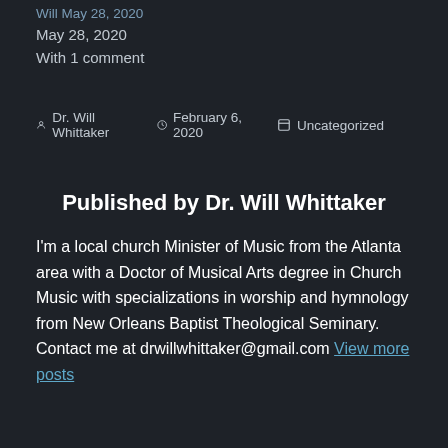Will May 28, 2020
May 28, 2020
With 1 comment
By Dr. Will Whittaker   February 6, 2020   Uncategorized
Published by Dr. Will Whittaker
I'm a local church Minister of Music from the Atlanta area with a Doctor of Musical Arts degree in Church Music with specializations in worship and hymnology from New Orleans Baptist Theological Seminary. Contact me at drwillwhittaker@gmail.com View more posts